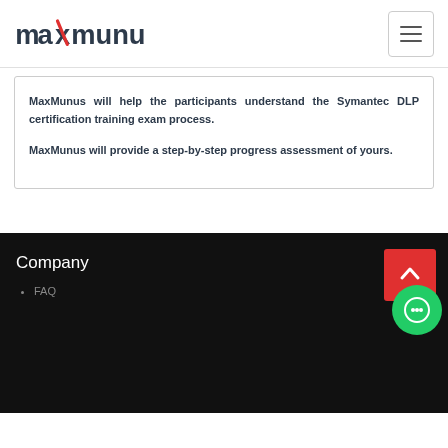MaxMunus
MaxMunus will help the participants understand the Symantec DLP certification training exam process.
MaxMunus will provide a step-by-step progress assessment of yours.
Company
FAQ